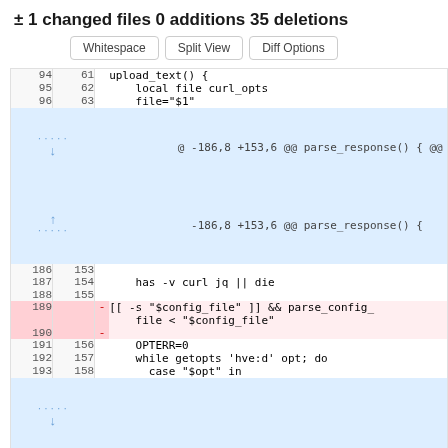± 1 changed files 0 additions 35 deletions
Whitespace | Split View | Diff Options
| old | new | sign | code |
| --- | --- | --- | --- |
| 94 | 61 |  | upload_text() { |
| 95 | 62 |  |   local file curl_opts |
| 96 | 63 |  |   file="$1" |
|  |  |  | @ -186,8 +153,6 @@ parse_response() { @@ |
|  |  |  |   -186,8 +153,6 @@ parse_response() { |
| 186 | 153 |  |  |
| 187 | 154 |  |   has -v curl jq || die |
| 188 | 155 |  |  |
| 189 |  | - | [[ -s "$config_file" ]] && parse_config_
    file < "$config_file" |
| 190 |  | - |  |
| 191 | 156 |  | OPTERR=0 |
| 192 | 157 |  | while getopts 'hve:d' opt; do |
| 193 | 158 |  |   case "$opt" in |
|  |  |  |  |